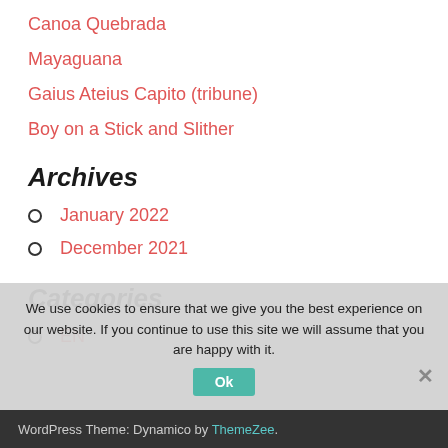Canoa Quebrada
Mayaguana
Gaius Ateius Capito (tribune)
Boy on a Stick and Slither
Archives
January 2022
December 2021
Categories
EN
We use cookies to ensure that we give you the best experience on our website. If you continue to use this site we will assume that you are happy with it.
WordPress Theme: Dynamico by ThemeZee.